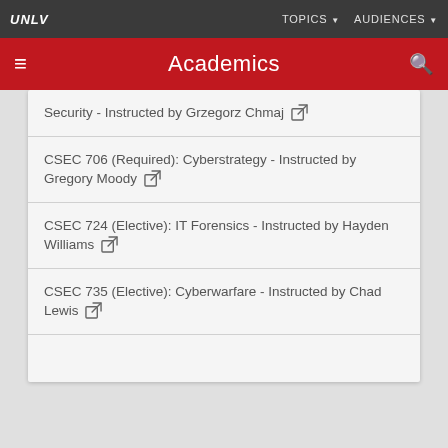UNLV | TOPICS | AUDIENCES
Academics
Security - Instructed by Grzegorz Chmaj
CSEC 706 (Required): Cyberstrategy - Instructed by Gregory Moody
CSEC 724 (Elective): IT Forensics - Instructed by Hayden Williams
CSEC 735 (Elective): Cyberwarfare - Instructed by Chad Lewis